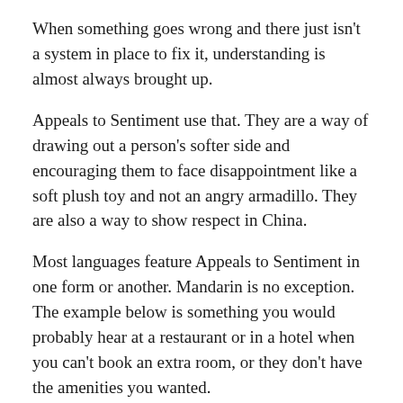When something goes wrong and there just isn't a system in place to fix it, understanding is almost always brought up.
Appeals to Sentiment use that. They are a way of drawing out a person's softer side and encouraging them to face disappointment like a soft plush toy and not an angry armadillo. They are also a way to show respect in China.
Most languages feature Appeals to Sentiment in one form or another. Mandarin is no exception. The example below is something you would probably hear at a restaurant or in a hotel when you can't book an extra room, or they don't have the amenities you wanted.
Notice the use of 抱歉 (Bàoqiàn) as opposed to 麻烦您 (máfan nín), this is a more formal phrase and much more suitable for business-related situations.